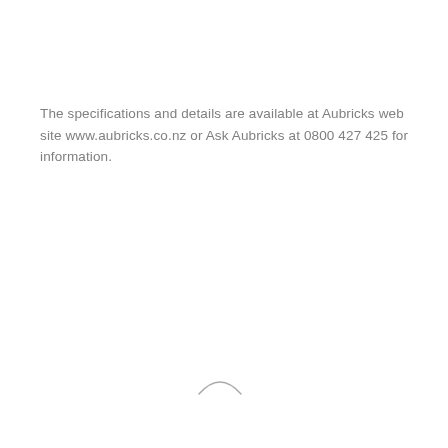The specifications and details are available at Aubricks web site www.aubricks.co.nz or Ask Aubricks at 0800 427 425 for information.
[Figure (other): Small arch/arc symbol decorative element]